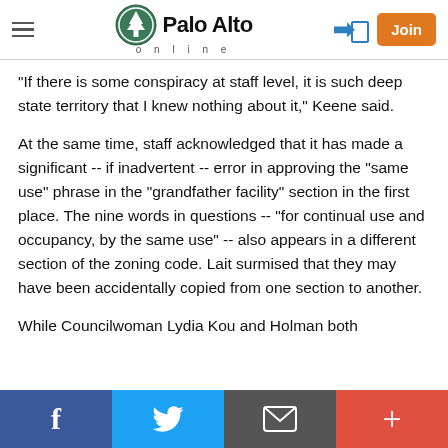Palo Alto online
"If there is some conspiracy at staff level, it is such deep state territory that I knew nothing about it," Keene said.
At the same time, staff acknowledged that it has made a significant -- if inadvertent -- error in approving the "same use" phrase in the "grandfather facility" section in the first place. The nine words in questions -- "for continual use and occupancy, by the same use" -- also appears in a different section of the zoning code. Lait surmised that they may have been accidentally copied from one section to another.
While Councilwoman Lydia Kou and Holman both
f  Twitter  mail  +